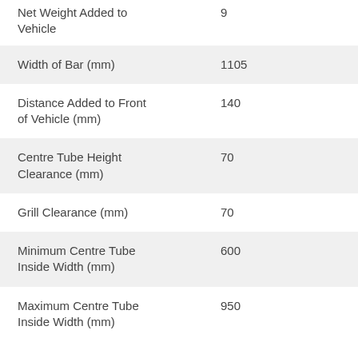| Property | Value |
| --- | --- |
| Net Weight Added to Vehicle | 9 |
| Width of Bar (mm) | 1105 |
| Distance Added to Front of Vehicle (mm) | 140 |
| Centre Tube Height Clearance (mm) | 70 |
| Grill Clearance (mm) | 70 |
| Minimum Centre Tube Inside Width (mm) | 600 |
| Maximum Centre Tube Inside Width (mm) | 950 |